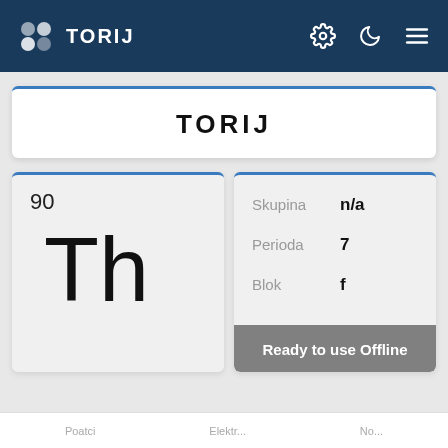TORIJ
TORIJ
90
Th
Skupina  n/a
Perioda  7
Blok  f
Ready to use Offline